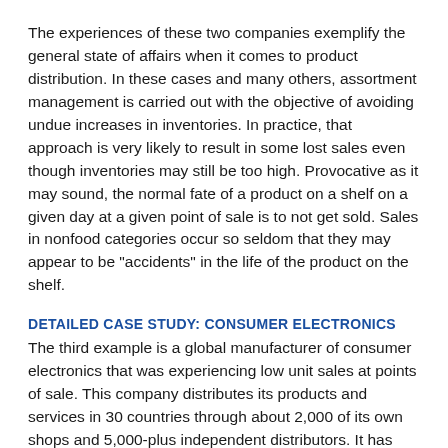The experiences of these two companies exemplify the general state of affairs when it comes to product distribution. In these cases and many others, assortment management is carried out with the objective of avoiding undue increases in inventories. In practice, that approach is very likely to result in some lost sales even though inventories may still be too high. Provocative as it may sound, the normal fate of a product on a shelf on a given day at a given point of sale is to not get sold. Sales in nonfood categories occur so seldom that they may appear to be "accidents" in the life of the product on the shelf.
DETAILED CASE STUDY: CONSUMER ELECTRONICS
The third example is a global manufacturer of consumer electronics that was experiencing low unit sales at points of sale. This company distributes its products and services in 30 countries through about 2,000 of its own shops and 5,000-plus independent distributors. It has industrial operations in five countries. Its fashionable products have